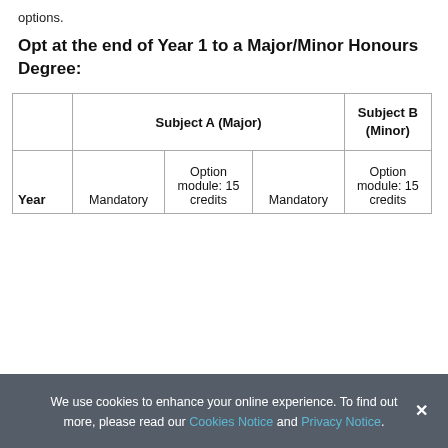options.
Opt at the end of Year 1 to a Major/Minor Honours Degree:
|  | Subject A (Major) |  |  | Subject B (Minor) |
| --- | --- | --- | --- | --- |
| Year | Mandatory | Option module: 15 credits | Mandatory | Option module: 15 credits |
We use cookies to enhance your online experience. To find out more, please read our Cookies Notice and Privacy Notice.